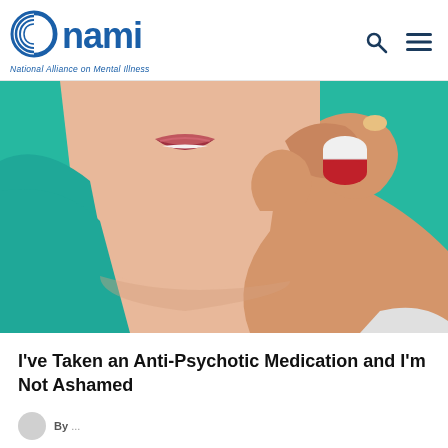NAMI — National Alliance on Mental Illness
[Figure (illustration): Illustration of a person holding a red and white capsule pill between their fingers, raising it toward their mouth. The person wears a teal top. Background is teal and skin-tone. Flat vector illustration style.]
I've Taken an Anti-Psychotic Medication and I'm Not Ashamed
By ...